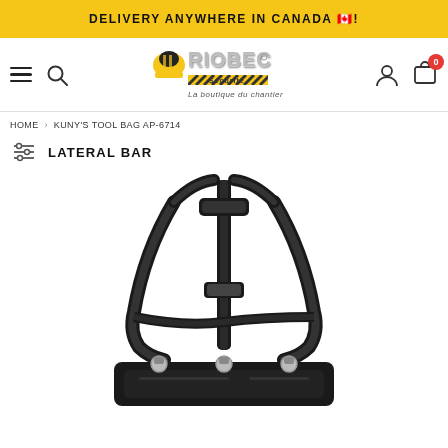DELIVERY ANYWHERE IN CANADA 🇨🇦!
[Figure (logo): RIOBEC Sécurité - La boutique du chantier logo with construction helmet graphic and yellow/black striped banner]
HOME > KUNY'S TOOL BAG AP-6714
LATERAL BAR
[Figure (photo): Black tool bag / suspender harness system with straps and metal clips shown on white background]